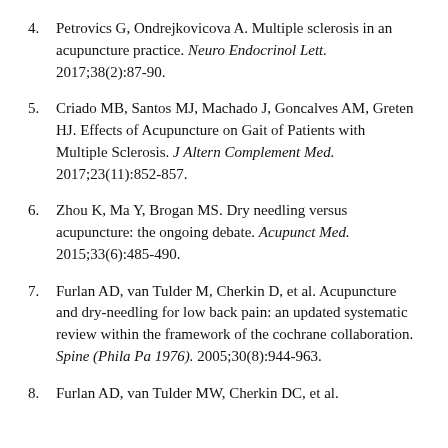4. Petrovics G, Ondrejkovicova A. Multiple sclerosis in an acupuncture practice. Neuro Endocrinol Lett. 2017;38(2):87-90.
5. Criado MB, Santos MJ, Machado J, Goncalves AM, Greten HJ. Effects of Acupuncture on Gait of Patients with Multiple Sclerosis. J Altern Complement Med. 2017;23(11):852-857.
6. Zhou K, Ma Y, Brogan MS. Dry needling versus acupuncture: the ongoing debate. Acupunct Med. 2015;33(6):485-490.
7. Furlan AD, van Tulder M, Cherkin D, et al. Acupuncture and dry-needling for low back pain: an updated systematic review within the framework of the cochrane collaboration. Spine (Phila Pa 1976). 2005;30(8):944-963.
8. Furlan AD, van Tulder MW, Cherkin DC, et al.